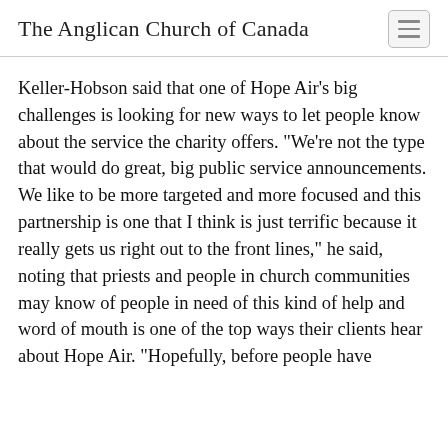The Anglican Church of Canada
Keller-Hobson said that one of Hope Air’s big challenges is looking for new ways to let people know about the service the charity offers. “We’re not the type that would do great, big public service announcements. We like to be more targeted and more focused and this partnership is one that I think is just terrific because it really gets us right out to the front lines,” he said, noting that priests and people in church communities may know of people in need of this kind of help and word of mouth is one of the top ways their clients hear about Hope Air. “Hopefully, before people have